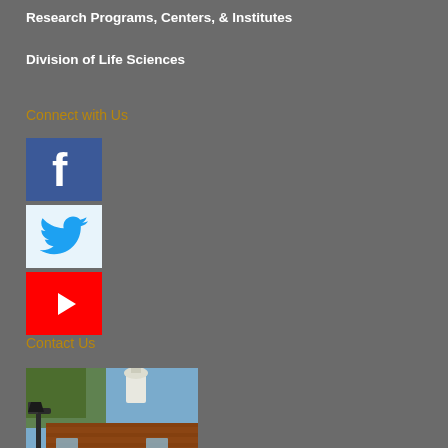Research Programs, Centers, & Institutes
Division of Life Sciences
Connect with Us
[Figure (logo): Facebook logo - blue square with white 'f' letter]
[Figure (logo): Twitter logo - light blue square with blue bird icon]
[Figure (logo): YouTube logo - red square with white play button triangle]
Contact Us
[Figure (photo): Photograph of a brick university building exterior with arched entrance, lamp post in foreground, and white cupola visible against a blue sky with autumn trees]